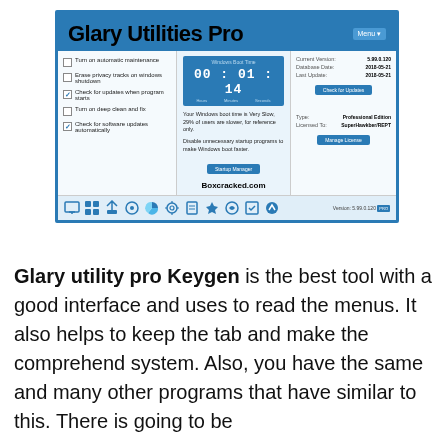[Figure (screenshot): Screenshot of Glary Utilities Pro software interface showing the main dashboard with automatic maintenance options, Windows boot time display (00:01:14), version info, license details, and toolbar icons at the bottom. Watermark text 'Boxcracked.com' visible in center panel.]
Glary utility pro Keygen is the best tool with a good interface and uses to read the menus. It also helps to keep the tab and make the comprehend system. Also, you have the same and many other programs that have similar to this. There is going to be